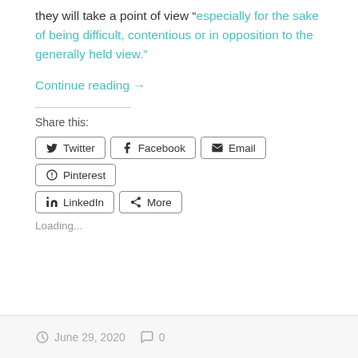they will take a point of view “especially for the sake of being difficult, contentious or in opposition to the generally held view.”
Continue reading →
Share this:
Twitter  Facebook  Email  Pinterest  LinkedIn  More
Loading...
June 29, 2020  0